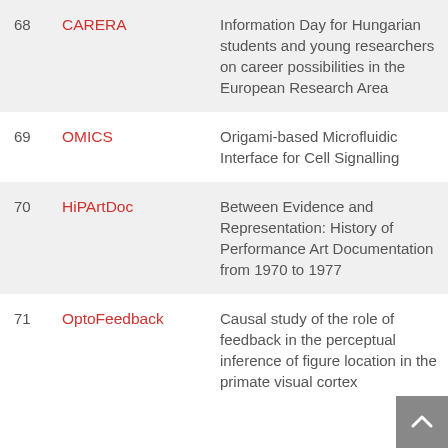| # | Name | Description |
| --- | --- | --- |
| 68 | CARERA | Information Day for Hungarian students and young researchers on career possibilities in the European Research Area |
| 69 | OMICS | Origami-based Microfluidic Interface for Cell Signalling |
| 70 | HiPArtDoc | Between Evidence and Representation: History of Performance Art Documentation from 1970 to 1977 |
| 71 | OptoFeedback | Causal study of the role of feedback in the perceptual inference of figure location in the primate visual cortex |